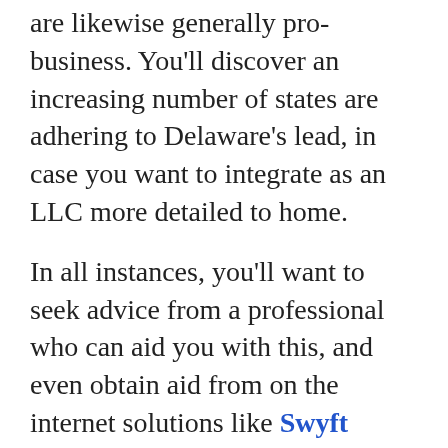are likewise generally pro-business. You'll discover an increasing number of states are adhering to Delaware's lead, in case you want to integrate as an LLC more detailed to home.
In all instances, you'll want to seek advice from a professional who can aid you with this, and even obtain aid from on the internet solutions like Swyft Filings.
The expense of setting up an LLC depends upon what state you are setting it up in. Despite the cost, it generally makes sense to establish it up in that state that you work in.
In New York, many individuals assume they can establish up a Delaware or Nevada LLC to prevent paying New York State and also New